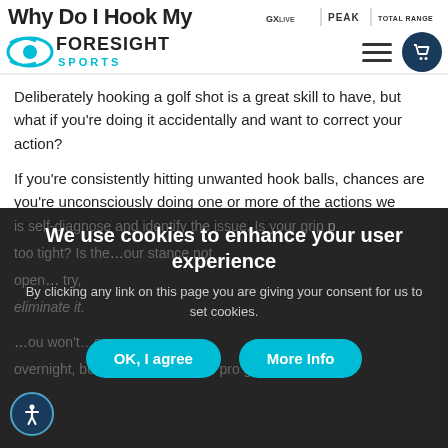Why Do I Hook My [page title truncated] — Foresight Sports navigation bar with logo
Why Do I Hook My
Deliberately hooking a golf shot is a great skill to have, but what if you're doing it accidentally and want to correct your action?
If you're consistently hitting unwanted hook balls, chances are you're unconsciously doing one or more of the actions we described above. What you'll need to do is self-diagnose and identify the issue. Is your grip too tight? Is the club face closed at impact? Is your stance not open enough? Once you've figured out the cause, try to eliminate it.
You won't be able to eliminate these errors overnight, but there are plenty of pro golfers who can
We use cookies to enhance your user experience
By clicking any link on this page you are giving your consent for us to set cookies.
OK, I agree
More Info